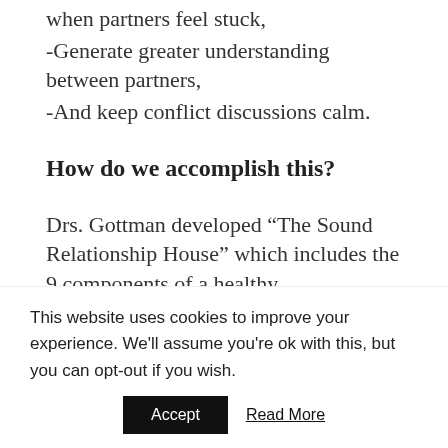when partners feel stuck,
-Generate greater understanding between partners,
-And keep conflict discussions calm.
How do we accomplish this?
Drs. Gottman developed “The Sound Relationship House” which includes the 9 components of a healthy
This website uses cookies to improve your experience. We’ll assume you’re ok with this, but you can opt-out if you wish.
Accept
Read More